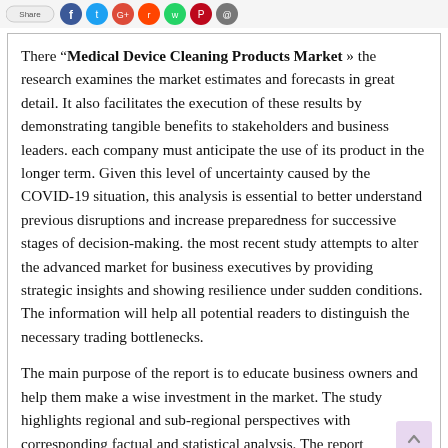[Figure (other): Social media share icons row at top: a pill-shaped share button followed by colored social media icon circles (Facebook, Twitter, Google+, Reddit, WhatsApp, Pinterest, Email)]
There “Medical Device Cleaning Products Market » the research examines the market estimates and forecasts in great detail. It also facilitates the execution of these results by demonstrating tangible benefits to stakeholders and business leaders. each company must anticipate the use of its product in the longer term. Given this level of uncertainty caused by the COVID-19 situation, this analysis is essential to better understand previous disruptions and increase preparedness for successive stages of decision-making. the most recent study attempts to alter the advanced market for business executives by providing strategic insights and showing resilience under sudden conditions. The information will help all potential readers to distinguish the necessary trading bottlenecks.
The main purpose of the report is to educate business owners and help them make a wise investment in the market. The study highlights regional and sub-regional perspectives with corresponding factual and statistical analysis. The report